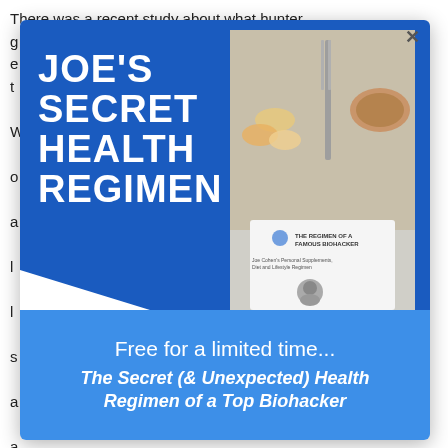There was a recent study about what hunter g... e... t...
[Figure (infographic): Modal popup advertisement for 'Joe's Secret Health Regimen' showing a blue background with white bold uppercase text 'JOE'S SECRET HEALTH REGIMEN' on the left side, and a book titled 'The Regimen of a Famous Biohacker: Joe Cohen's Personal Supplements, Diet and Lifestyle Regimen' with a photo of supplements and food on a plate on the right. Below is a lighter blue bar with text 'Free for a limited time...' and 'The Secret (& Unexpected) Health Regimen of a Top Biohacker']
Free for a limited time...
The Secret (& Unexpected) Health Regimen of a Top Biohacker